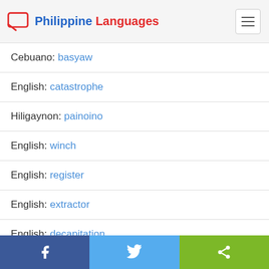Philippine Languages
Cebuano: basyaw
English: catastrophe
Hiligaynon: painoino
English: winch
English: register
English: extractor
English: decapitation
Facebook | Twitter | Share